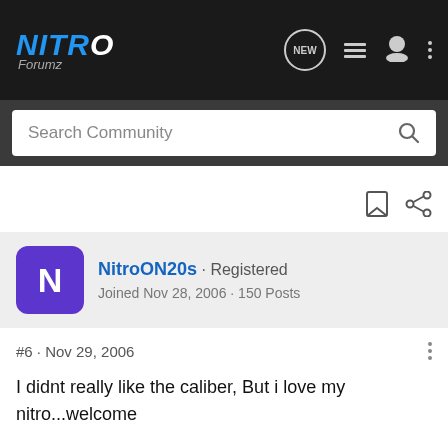NITRO Forumz
Search Community
NitroON20s · Registered
Joined Nov 28, 2006 · 150 Posts
#6 · Nov 29, 2006
I didnt really like the caliber, But i love my nitro...welcome